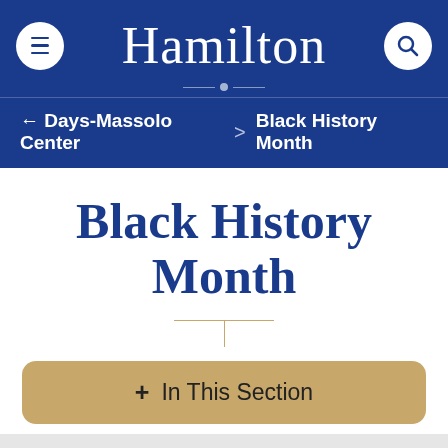Hamilton
← Days-Massolo Center > Black History Month
Black History Month
+ In This Section
This website uses cookies to offer you a better browsing experience.
Accept and Continue
Read More / Change Settings